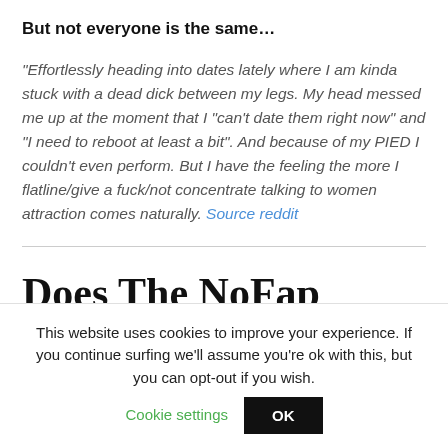But not everyone is the same…
“Effortlessly heading into dates lately where I am kinda stuck with a dead dick between my legs. My head messed me up at the moment that I “can't date them right now” and “I need to reboot at least a bit”. And because of my PIED I couldn't even perform. But I have the feeling the more I flatline/give a fuck/not concentrate talking to women attraction comes naturally. Source reddit
Does The NoFap Attraction
Dic Ortoif Wor Ko C
This website uses cookies to improve your experience. If you continue surfing we'll assume you're ok with this, but you can opt-out if you wish. Cookie settings OK